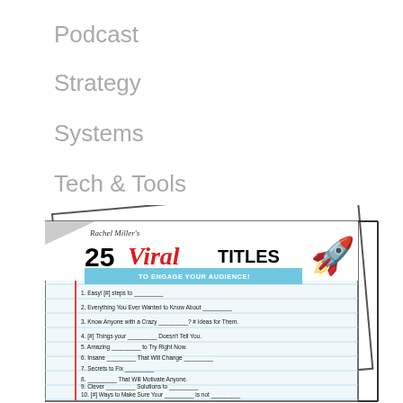Podcast
Strategy
Systems
Tech & Tools
[Figure (illustration): Rachel Miller's 25 Viral Titles to Engage Your Audience! – a promotional image showing a tilted notepad/paper with a list of 11 viral title templates, decorated with a rocket emoji, on a light blue lined paper background with a red margin line. The header reads 'Rachel Miller's 25 Viral TITLES TO ENGAGE YOUR AUDIENCE!' in bold stylized text.]